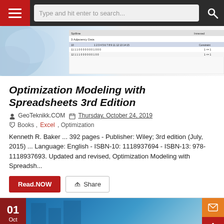GeoTeknikk.COM navigation bar with search
[Figure (screenshot): Book cover image showing a spreadsheet with adjacency data table]
Optimization Modeling with Spreadsheets 3rd Edition
GeoTeknikk.COM  Thursday, October 24, 2019
Books , Excel , Optimization
Kenneth R. Baker ... 392 pages - Publisher: Wiley; 3rd edition (July, 2015) ... Language: English - ISBN-10: 1118937694 - ISBN-13: 978-1118937693. Updated and revised, Optimization Modeling with Spreadsh...
Read.NOW   Share
[Figure (screenshot): Preview of another book post with date badge 01 Oct 2019, building image, and action icons]